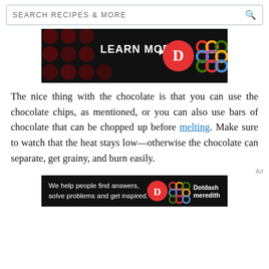SEARCH RECIPES & MORE
[Figure (screenshot): Dark advertisement banner with 'LEARN MORE' text, Dotdash D logo in red circle, and colorful linked circles logo on black background with dark red polka dots]
The nice thing with the chocolate is that you can use the chocolate chips, as mentioned, or you can also use bars of chocolate that can be chopped up before melting. Make sure to watch that the heat stays low—otherwise the chocolate can separate, get grainy, and burn easily.
[Figure (screenshot): Dotdash Meredith advertisement banner: 'We help people find answers, solve problems and get inspired.' with D logo and Dotdash meredith branding on dark background]